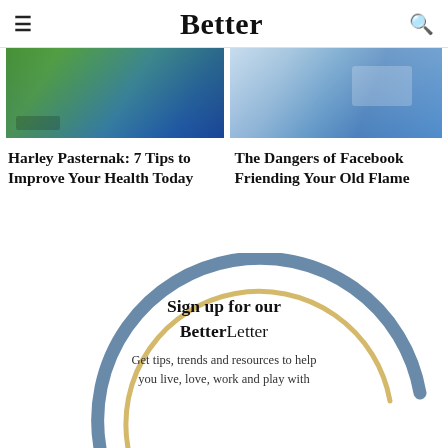Better
[Figure (photo): Man in blue athletic shirt, gym setting]
[Figure (photo): Hand touching tablet screen showing social media app icons]
Harley Pasternak: 7 Tips to Improve Your Health Today
The Dangers of Facebook Friending Your Old Flame
[Figure (illustration): Circular arc design with dark steel blue outer ring and gold/tan inner ring, partially open at bottom-right, containing sign-up call to action]
Sign up for our BetterLetter
Get tips, trends and resources to help you live, love, work and play with